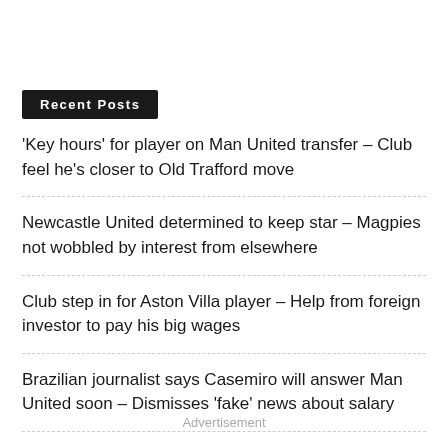Recent Posts
'Key hours' for player on Man United transfer – Club feel he's closer to Old Trafford move
Newcastle United determined to keep star – Magpies not wobbled by interest from elsewhere
Club step in for Aston Villa player – Help from foreign investor to pay his big wages
Brazilian journalist says Casemiro will answer Man United soon – Dismisses 'fake' news about salary
Manchester United's chase for Ten Hag favourite has 'resumed' – Clubs in talks since Tuesday
Advertisement